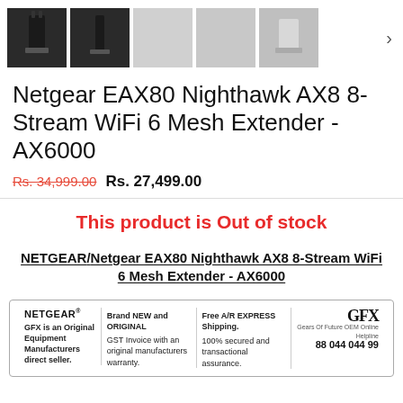[Figure (photo): Row of product thumbnail images of Netgear EAX80 router from different angles, with a right arrow navigation button]
Netgear EAX80 Nighthawk AX8 8-Stream WiFi 6 Mesh Extender - AX6000
Rs. 34,999.00 Rs. 27,499.00
This product is Out of stock
NETGEAR / Netgear EAX80 Nighthawk AX8 8-Stream WiFi 6 Mesh Extender - AX6000
[Figure (infographic): Info banner with NETGEAR logo, GFX branding, Brand NEW and ORIGINAL text, GST invoice note, Free A/R EXPRESS Shipping, 100% secured and transactional assurance, helpline 88 044 044 99]